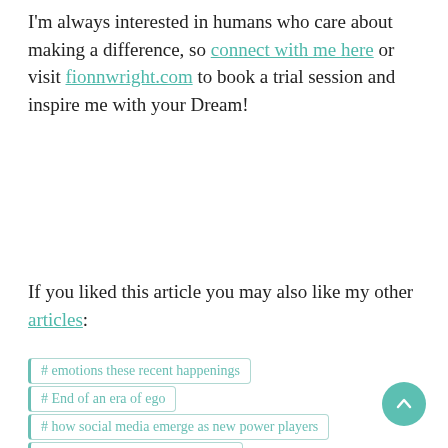I'm always interested in humans who care about making a difference, so connect with me here or visit fionnwright.com to book a trial session and inspire me with your Dream!
If you liked this article you may also like my other articles:
# emotions these recent happenings
# End of an era of ego
# how social media emerge as new power players
# new era of global accountability
# Outrage against Trump   # Social platforms
# unethical behaviour in social media